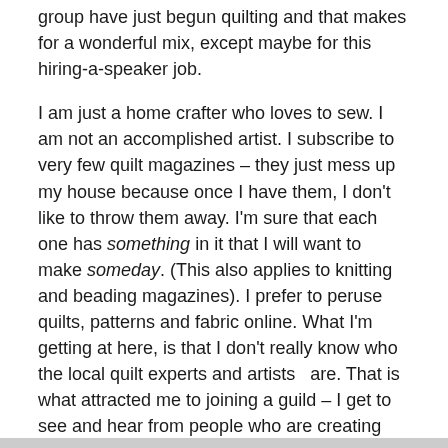group have just begun quilting and that makes for a wonderful mix, except maybe for this hiring-a-speaker job.
I am just a home crafter who loves to sew. I am not an accomplished artist. I subscribe to very few quilt magazines – they just mess up my house because once I have them, I don't like to throw them away. I'm sure that each one has something in it that I will want to make someday. (This also applies to knitting and beading magazines). I prefer to peruse quilts, patterns and fabric online. What I'm getting at here, is that I don't really know who the local quilt experts and artists  are. That is what attracted me to joining a guild – I get to see and hear from people who are creating wonderful “fabricy” things and they sometimes tell me how they made them. Such inspiration!